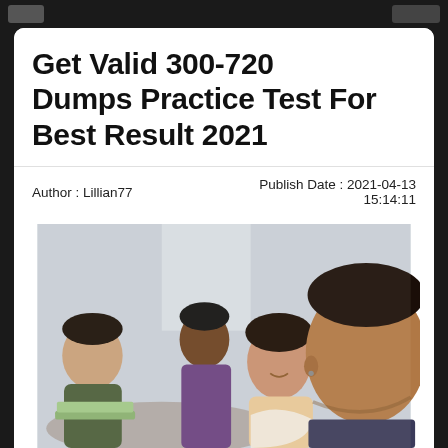Get Valid 300-720 Dumps Practice Test For Best Result 2021
Author : Lillian77    Publish Date : 2021-04-13 15:14:11
[Figure (photo): Group of four young students studying together, one woman smiling at camera, others looking at laptops and books in a classroom or library setting.]